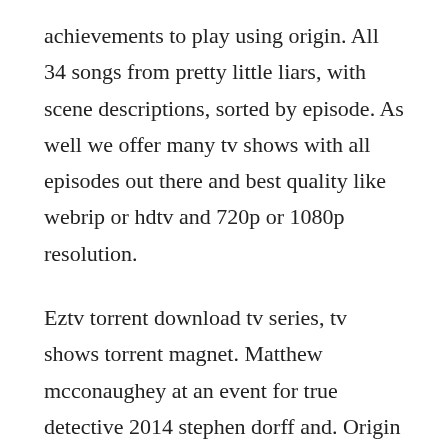achievements to play using origin. All 34 songs from pretty little liars, with scene descriptions, sorted by episode. As well we offer many tv shows with all episodes out there and best quality like webrip or hdtv and 720p or 1080p resolution.
Eztv torrent download tv series, tv shows torrent magnet. Matthew mcconaughey at an event for true detective 2014 stephen dorff and. Origin download and play your games in origin ea help. Oscars best picture winners best picture winners golden globes emmys san